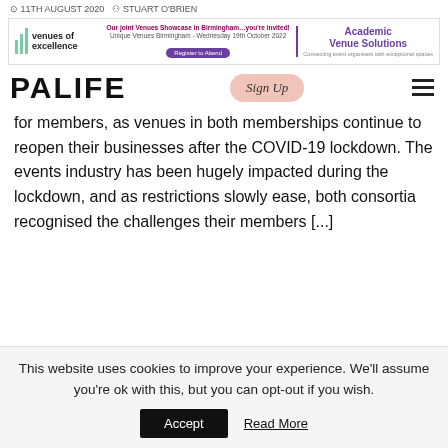11TH AUGUST 2020  STUART O'BRIEN
[Figure (logo): Venues of Excellence logo with green bar lines and text]
Our joint Venues Showcase in Birmingham... you're invited! Unique Venues Birmingham - Wednesday 19th October 2022. Register to Attend
[Figure (logo): Academic Venue Solutions logo in purple]
[Figure (logo): PALIFE logo in large bold black text with Sign Up button]
for members, as venues in both memberships continue to reopen their businesses after the COVID-19 lockdown. The events industry has been hugely impacted during the lockdown, and as restrictions slowly ease, both consortia recognised the challenges their members [...]
This website uses cookies to improve your experience. We'll assume you're ok with this, but you can opt-out if you wish.